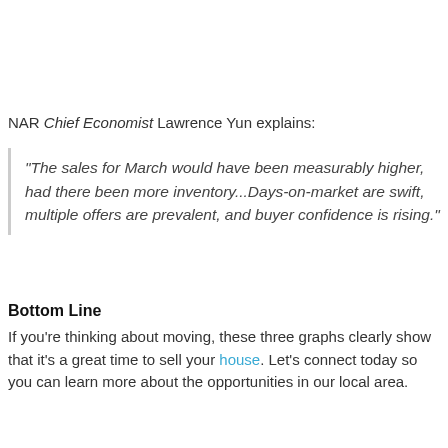NAR Chief Economist Lawrence Yun explains:
"The sales for March would have been measurably higher, had there been more inventory...Days-on-market are swift, multiple offers are prevalent, and buyer confidence is rising."
Bottom Line
If you're thinking about moving, these three graphs clearly show that it's a great time to sell your house. Let's connect today so you can learn more about the opportunities in our local area.